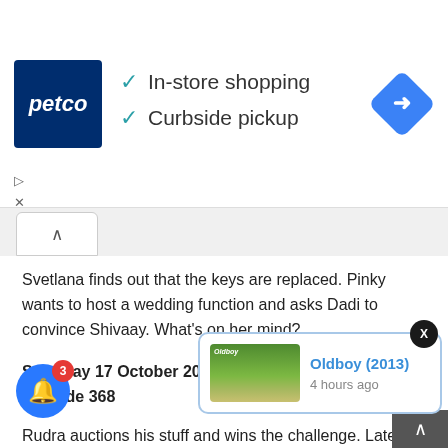[Figure (infographic): Petco advertisement banner showing Petco logo, checkmarks for In-store shopping and Curbside pickup, and a blue navigation diamond icon]
[Figure (other): Collapse/expand chevron button bar]
Svetlana finds out that the keys are replaced. Pinky wants to host a wedding function and asks Dadi to convince Shivaay. What's on her mind?
Saturday 17 October 2020
Episode 368
Rudra auctions his stuff and wins the challenge. Later, Bhavya reveals something about her, putting Rudra in a fix!
Sunday 18 October 2020
Episode 369
ay tries ha... up recording a video. Jhanvi uses a dummy to mislead
[Figure (screenshot): Notification popup showing Oldboy (2013) with thumbnail and '4 hours ago' text]
[Figure (other): Blue notification bell button with red badge showing 3]
[Figure (other): Back to top arrow button bottom right]